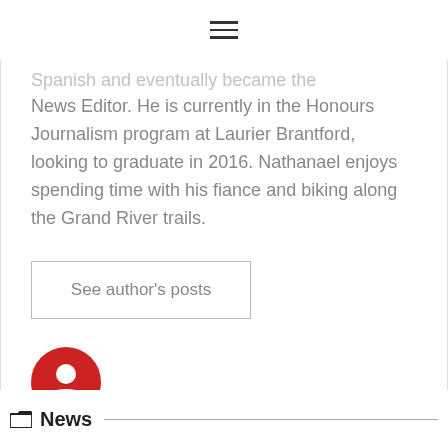☰
Spanish and eventually became the News Editor. He is currently in the Honours Journalism program at Laurier Brantford, looking to graduate in 2016. Nathanael enjoys spending time with his fiance and biking along the Grand River trails.
See author's posts
[Figure (logo): Red circular social media icon with a white figure/person silhouette]
News